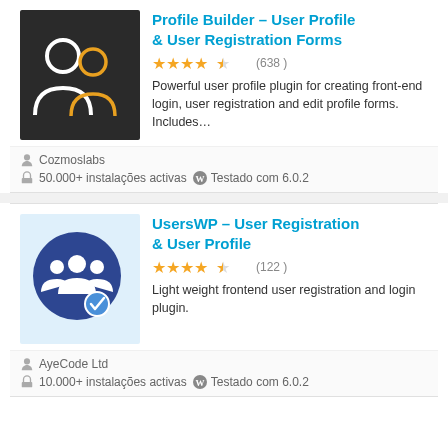[Figure (screenshot): Plugin card for Profile Builder showing dark background with two user silhouette icons (white and orange outline)]
Profile Builder – User Profile & User Registration Forms
★★★★½ (638)
Powerful user profile plugin for creating front-end login, user registration and edit profile forms. Includes…
Cozmoslabs
50.000+ instalações activas  Testado com 6.0.2
[Figure (screenshot): Plugin card for UsersWP showing light blue background with dark blue circle containing white group of users icon and a blue checkmark badge]
UsersWP – User Registration & User Profile
★★★★½ (122)
Light weight frontend user registration and login plugin.
AyeCode Ltd
10.000+ instalações activas  Testado com 6.0.2